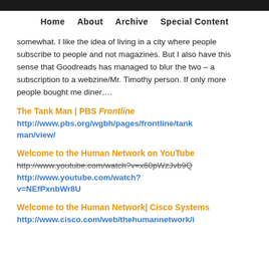Home  About  Archive  Special Content
somewhat. I like the idea of living in a city where people subscribe to people and not magazines. But I also have this sense that Goodreads has managed to blur the two – a subscription to a webzine/Mr. Timothy person. If only more people bought me diner….
The Tank Man | PBS Frontline
http://www.pbs.org/wgbh/pages/frontline/tankman/view/
Welcome to the Human Network on YouTube
http://www.youtube.com/watch?v=x60pWzJvb9Q
http://www.youtube.com/watch?v=NEfPxnbWr8U
Welcome to the Human Network| Cisco Systems
http://www.cisco.com/web/thehumannetwork/i